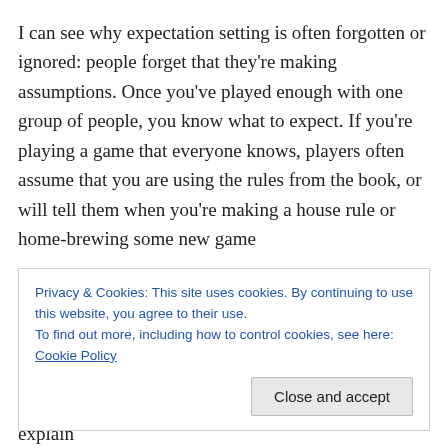I can see why expectation setting is often forgotten or ignored: people forget that they're making assumptions. Once you've played enough with one group of people, you know what to expect. If you're playing a game that everyone knows, players often assume that you are using the rules from the book, or will tell them when you're making a house rule or home-brewing some new game
Privacy & Cookies: This site uses cookies. By continuing to use this website, you agree to their use. To find out more, including how to control cookies, see here: Cookie Policy
It helps to set expectations incrementally; don't explain